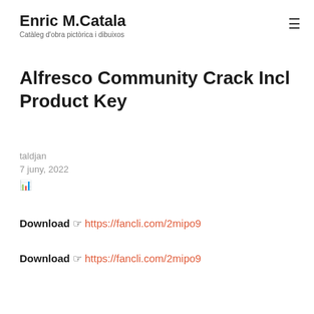Enric M.Catala — Catàleg d'obra pictòrica i dibuixos
Alfresco Community Crack Incl Product Key
taldjan
7 juny, 2022
Download ☞ https://fancli.com/2mipo9
Download ☞ https://fancli.com/2mipo9